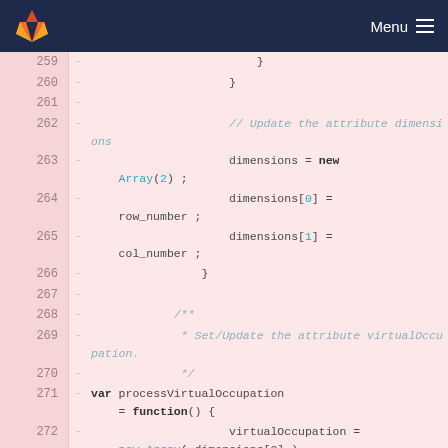GitLab navigation bar with logo and Menu
[Figure (screenshot): Code diff view showing lines 259-272 of a JavaScript file with deleted lines (marked with -) on a pink/red background. Lines show array dimension assignment and processVirtualOccupation function declaration.]